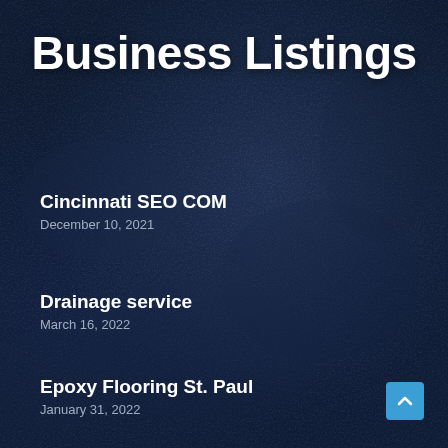Business Listings
Cincinnati SEO COM
December 10, 2021
Drainage service
March 16, 2022
Epoxy Flooring St. Paul
January 31, 2022
GRC Prime Bath – Federal Way Bathroom Remodeler
May 22, 2022